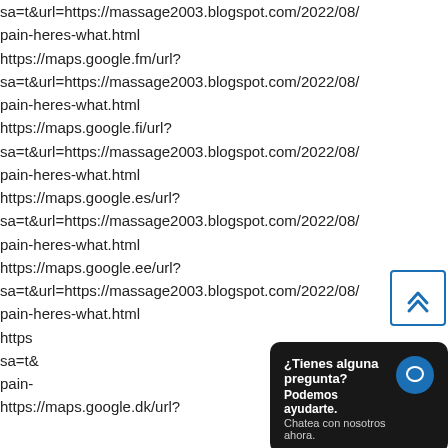sa=t&url=https://massage2003.blogspot.com/2022/08/
pain-heres-what.html
https://maps.google.fm/url?
sa=t&url=https://massage2003.blogspot.com/2022/08/
pain-heres-what.html
https://maps.google.fi/url?
sa=t&url=https://massage2003.blogspot.com/2022/08/
pain-heres-what.html
https://maps.google.es/url?
sa=t&url=https://massage2003.blogspot.com/2022/08/
pain-heres-what.html
https://maps.google.ee/url?
sa=t&url=https://massage2003.blogspot.com/2022/08/
pain-heres-what.html
https
sa=t&
pain-
https://maps.google.dk/url?
[Figure (other): Scroll-to-top button: a square icon with a double upward chevron (>>) in blue on white background with blue border]
[Figure (other): Chat popup overlay: dark rounded rectangle with text '¿Tienes alguna pregunta? Podemos ayudarte. Chatea con nosotros ahora.' and a blue circular chat icon]